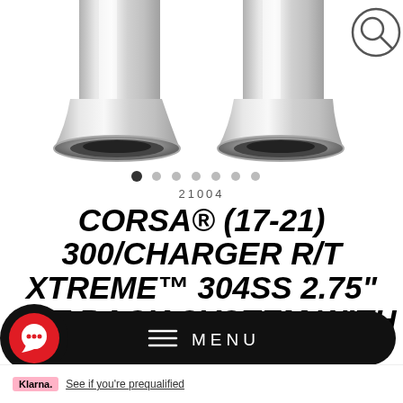[Figure (photo): Two chrome exhaust tips (polished stainless steel) shown from above on white background, partially cropped at top. A circular magnifying glass / search icon is in the top-right corner.]
[Figure (other): Image carousel navigation dots — 7 dots, first one filled/active (dark), rest gray.]
21004
CORSA® (17-21) 300/CHARGER R/T XTREME™ 304SS 2.75" CAT-BACK SYSTEM WITH 4.5" OD TIPS
[Figure (other): Black pill-shaped menu bar with hamburger menu icon and MENU text. Red/black chat bubble icon on the left side.]
Klarna. See if you're prequalified